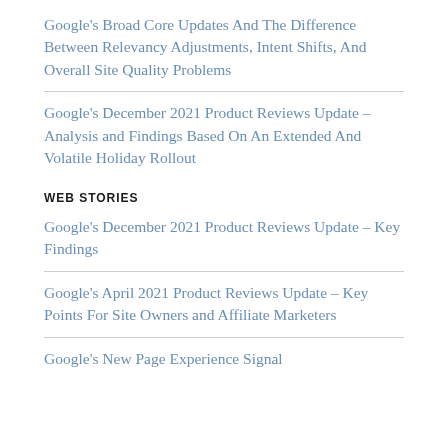Google's Broad Core Updates And The Difference Between Relevancy Adjustments, Intent Shifts, And Overall Site Quality Problems
Google's December 2021 Product Reviews Update – Analysis and Findings Based On An Extended And Volatile Holiday Rollout
WEB STORIES
Google's December 2021 Product Reviews Update – Key Findings
Google's April 2021 Product Reviews Update – Key Points For Site Owners and Affiliate Marketers
Google's New Page Experience Signal